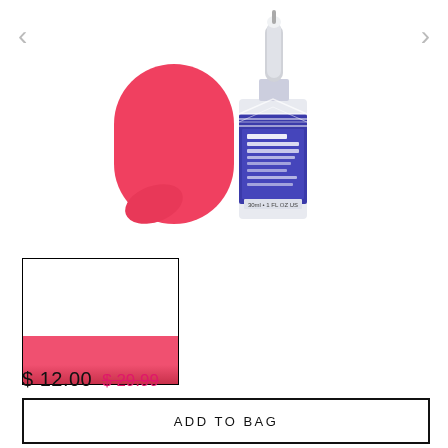[Figure (photo): Product image showing a red/coral tanning applicator mitt alongside a small dropper bottle labeled 'Coconut Water Face Tanning Serum Drops' with blue/purple label and silver dropper cap. 1 FL OZ US.]
[Figure (photo): Thumbnail image of the same product, partially visible, showing a red/coral color swatch at the bottom.]
$ 12.00 $ 29.99
ADD TO BAG